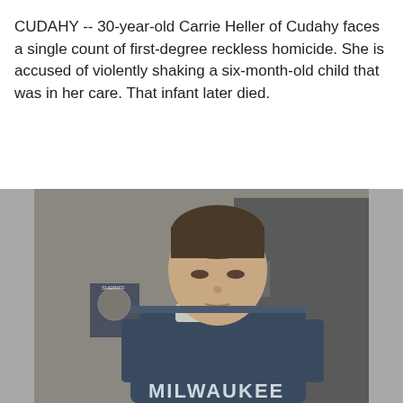CUDAHY -- 30-year-old Carrie Heller of Cudahy faces a single count of first-degree reckless homicide. She is accused of violently shaking a six-month-old child that was in her care. That infant later died.
[Figure (photo): A woman in a dark blue Milwaukee jail uniform standing in what appears to be a courtroom, with a sheriff's deputy visible behind her.]